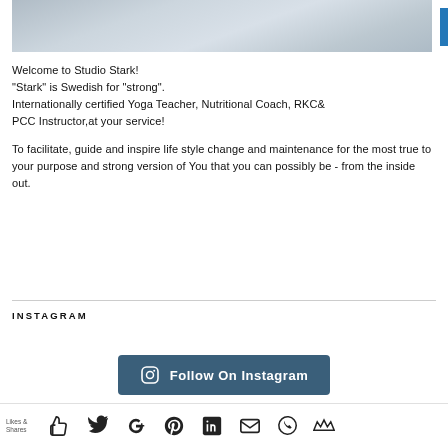[Figure (photo): Top section of a snowy or icy textured surface photo, cropped]
Welcome to Studio Stark!
"Stark" is Swedish for "strong".
Internationally certified Yoga Teacher, Nutritional Coach, RKC& PCC Instructor,at your service!

To facilitate, guide and inspire life style change and maintenance for the most true to your purpose and strong version of You that you can possibly be - from the inside out.
INSTAGRAM
[Figure (other): Follow On Instagram button with Instagram icon]
Likes & Shares